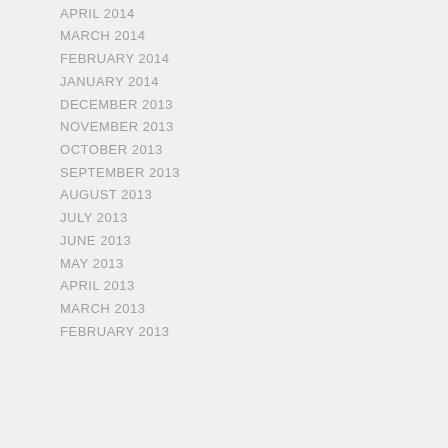APRIL 2014
MARCH 2014
FEBRUARY 2014
JANUARY 2014
DECEMBER 2013
NOVEMBER 2013
OCTOBER 2013
SEPTEMBER 2013
AUGUST 2013
JULY 2013
JUNE 2013
MAY 2013
APRIL 2013
MARCH 2013
FEBRUARY 2013